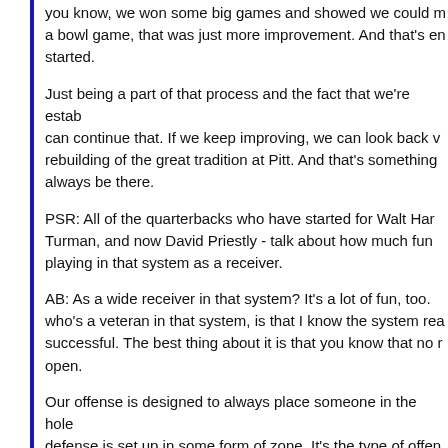you know, we won some big games and showed we could make it to a bowl game, that was just more improvement. And that's en started.
Just being a part of that process and the fact that we're estab can continue that. If we keep improving, we can look back v rebuilding of the great tradition at Pitt. And that's something always be there.
PSR: All of the quarterbacks who have started for Walt Har Turman, and now David Priestly - talk about how much fun playing in that system as a receiver.
AB: As a wide receiver in that system? It's a lot of fun, too. who's a veteran in that system, is that I know the system rea successful. The best thing about it is that you know that no r open.
Our offense is designed to always place someone in the hole defense is set up in some form of zone. It's the type of offen guys running it. It' not easy to execute right away - it's a hig watching it, it's difficult to defend. We put up a lot of points Tech defense, so that just shows that when you execute in th
PSR: What's your relationship like with Walt Harris?